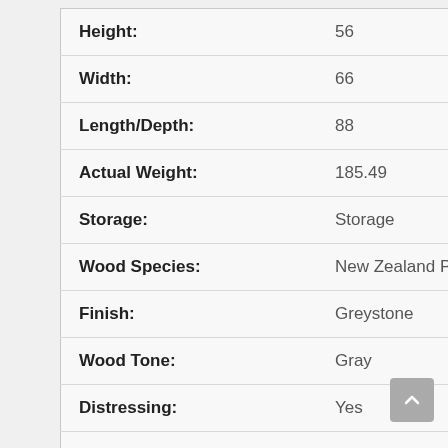| Attribute | Value |
| --- | --- |
| Height: | 56 |
| Width: | 66 |
| Length/Depth: | 88 |
| Actual Weight: | 185.49 |
| Storage: | Storage |
| Wood Species: | New Zealand Pine |
| Finish: | Greystone |
| Wood Tone: | Gray |
| Distressing: | Yes |
| Color: | Light Gray |
| Hardware Finish: | Oxidized Iron |
| Material: | Solid Wood |